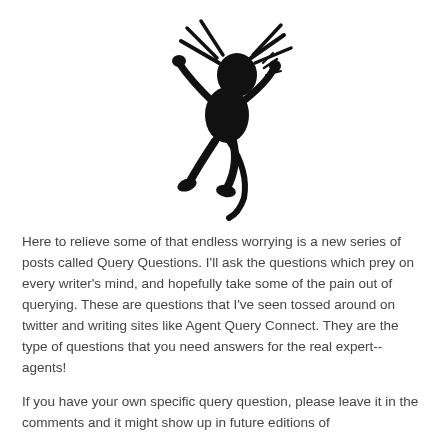[Figure (illustration): Black silhouette illustration of a stick-figure-like creature/person in a frantic pose, appearing to be running or jumping with arms raised and hair or appendages flying outward from the head, suggesting panic or worry.]
Here to relieve some of that endless worrying is a new series of posts called Query Questions. I'll ask the questions which prey on every writer's mind, and hopefully take some of the pain out of querying. These are questions that I've seen tossed around on twitter and writing sites like Agent Query Connect. They are the type of questions that you need answers for the real expert--agents!
If you have your own specific query question, please leave it in the comments and it might show up in future editions of